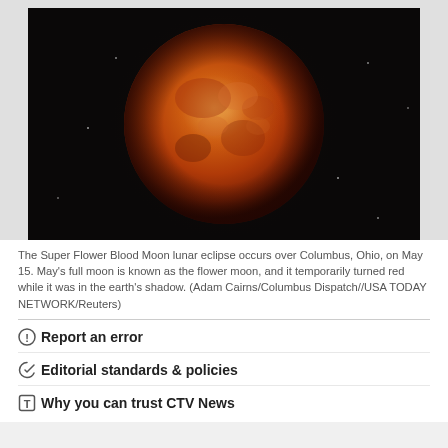[Figure (photo): Blood moon / Super Flower Blood Moon lunar eclipse photo. A large orange-red moon against a black night sky.]
The Super Flower Blood Moon lunar eclipse occurs over Columbus, Ohio, on May 15. May's full moon is known as the flower moon, and it temporarily turned red while it was in the earth's shadow. (Adam Cairns/Columbus Dispatch//USA TODAY NETWORK/Reuters)
Report an error
Editorial standards & policies
Why you can trust CTV News